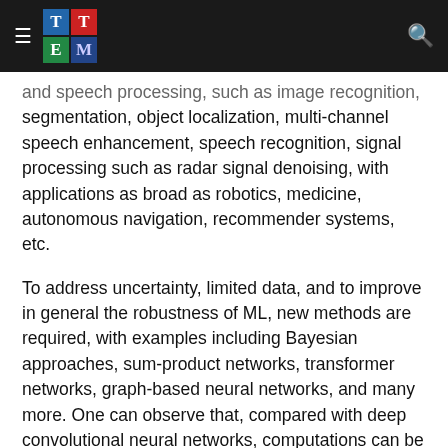TEM logo and navigation header
and speech processing, such as image recognition, segmentation, object localization, multi-channel speech enhancement, speech recognition, signal processing such as radar signal denoising, with applications as broad as robotics, medicine, autonomous navigation, recommender systems, etc.
To address uncertainty, limited data, and to improve in general the robustness of ML, new methods are required, with examples including Bayesian approaches, sum-product networks, transformer networks, graph-based neural networks, and many more. One can observe that, compared with deep convolutional neural networks, computations can be fundamentally different, compute requirements can substantially increase, and underlying properties like structure in computation are often lost. As a result, we observe a strong need for new ML methods to address the